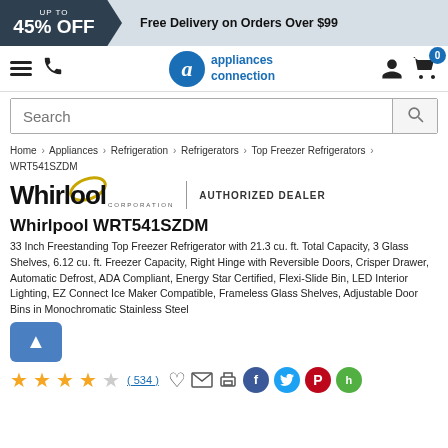UP TO 45% OFF | Free Delivery on Orders Over $99
[Figure (logo): Appliances Connection logo with navigation icons (hamburger menu, phone, user, cart with 0 badge)]
Search
Home > Appliances > Refrigeration > Refrigerators > Top Freezer Refrigerators > WRT541SZDM
[Figure (logo): Whirlpool Corporation logo with gold orbit ring and AUTHORIZED DEALER text]
Whirlpool WRT541SZDM
33 Inch Freestanding Top Freezer Refrigerator with 21.3 cu. ft. Total Capacity, 3 Glass Shelves, 6.12 cu. ft. Freezer Capacity, Right Hinge with Reversible Doors, Crisper Drawer, Automatic Defrost, ADA Compliant, Energy Star Certified, Flexi-Slide Bin, LED Interior Lighting, EZ Connect Ice Maker Compatible, Frameless Glass Shelves, Adjustable Door Bins in Monochromatic Stainless Steel
(534) — 4 out of 5 stars rating with social sharing icons